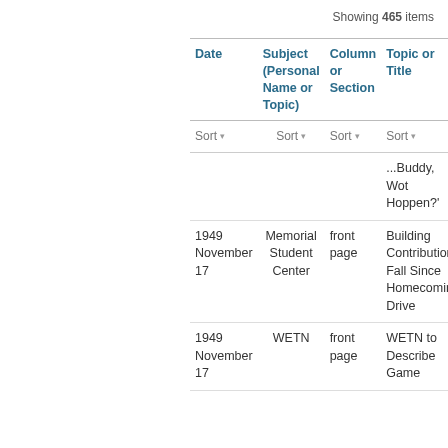Showing 465 items
| Date | Subject (Personal Name or Topic) | Column or Section | Topic or Title |
| --- | --- | --- | --- |
|  |  |  | ...Buddy, Wot Hoppen?' |
| 1949 November 17 | Memorial Student Center | front page | Building Contributions Fall Since Homecoming Drive |
| 1949 November 17 | WETN | front page | WETN to Describe Game |